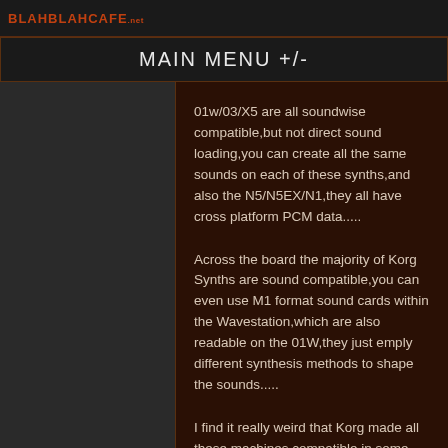BLAHBLAHCAFE
MAIN MENU +/-
01w/03/X5 are all soundwise compatible,but not direct sound loading,you can create all the same sounds on each of these synths,and also the N5/N5EX/N1,they all have cross platform PCM data.....
Across the board the majority of Korg Synths are sound compatible,you can even use M1 format sound cards within the Wavestation,which are also readable on the 01W,they just emply different synthesis methods to shape the sounds.....
I find it really weird that Korg made all these machines compatible in some form,but yet 2 of the closest machines they produced (Triton/Trinity) are not file compatible other than by actually editing/Copying the sounds settings yourself!!!!